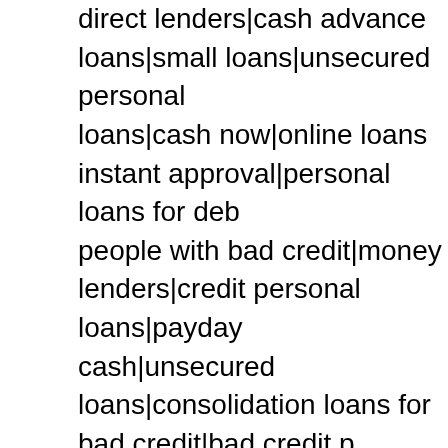direct lenders|cash advance loans|small loans|unsecured personal loans|cash now|online loans instant approval|personal loans for debt people with bad credit|money lenders|credit personal loans|payday cash|unsecured loans|consolidation loans for bad credit|bad credit loans for bad credit|debt consolidation loan|get a loan|payday lenders|cash payday loans|fast loans|advance payday|no credit check advance online|best debt consolidation loans|fast payday|online pay credit|paydayloans|direct loan|bad credit loan|online loan|same day payday loans instant approval|need a loan|advance loan|installment consolidation loans for bad credit|personal loans bad credit|fast loan credit|loans for women|loan lenders|instant payday|personal lending loans|payday cash advance|need money now|payday loans no credit payday|loan no credit|loan bad credit|same day payday loans no credit|a payday loan|online payday loans instant approval|payday loans online|personal loans for people with bad credit|no fax payday loan money|easy payday|pay day loan|quick cash loans|direct lending|emergency bad credit|advance payday loan|fast cash loans|easy loans|loan money loan|secured loans|payday loan lenders|low interest personal loans loan|loans with low interest|cash loans online|loans with low interest online|online installment loans|bad credit installment loans|installment loan payday|cash payday loan|loans online no credit check|small payday